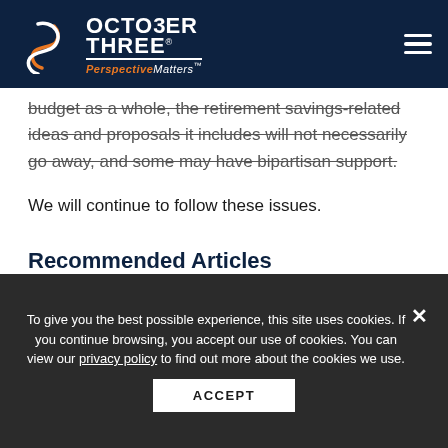[Figure (logo): October Three logo with stylized S-curve icon, company name 'OCTOBER THREE', and tagline 'Perspective Matters']
budget as a whole, the retirement savings-related ideas and proposals it includes will not necessarily go away, and some may have bipartisan support.
We will continue to follow these issues.
Recommended Articles
To give you the best possible experience, this site uses cookies. If you continue browsing, you accept our use of cookies. You can view our privacy policy to find out more about the cookies we use.
ACCEPT